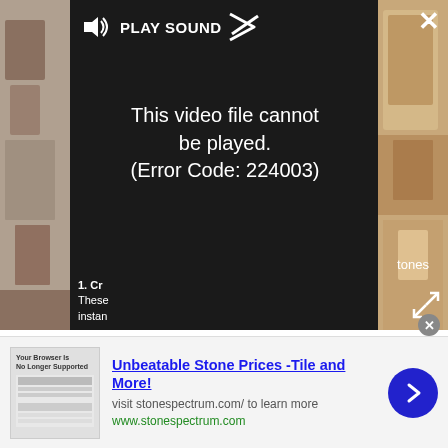[Figure (screenshot): Video player showing error message 'This video file cannot be played. (Error Code: 224003)' with PLAY SOUND button at top and room interior photos peeking on sides]
The mantle was painted Farrow and Ball's Inchyra Blue to match the colour in the wallpaper. The Platner table was a hand-me-down from Jocelyn and Maddy's parents. The boots in front of the fireplace belonged to Jocelyn and Maddy's grandfather. The pitcher on the chest of drawers is from Pillar and Post, a Georgetown antique store.
[Figure (screenshot): Advertisement banner: 'Unbeatable Stone Prices -Tile and More!' with visit stonespectrum.com/ to learn more and www.stonespectrum.com, with a blue arrow button on the right]